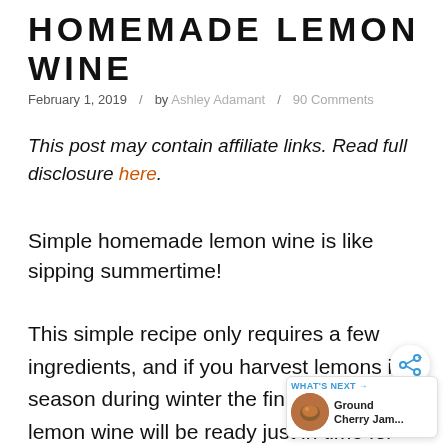HOMEMADE LEMON WINE
February 1, 2019  /  by Ashley Adamant  /  90 Comments
This post may contain affiliate links. Read full disclosure here.
Simple homemade lemon wine is like sipping summertime!
This simple recipe only requires a few ingredients, and if you harvest lemons in season during winter the finished lemon wine will be ready just in time for
[Figure (other): Social share button (circular icon with share symbol) overlaid on the text, and a 'What's Next' widget showing a thumbnail of Ground Cherry Jam article in the bottom right corner]